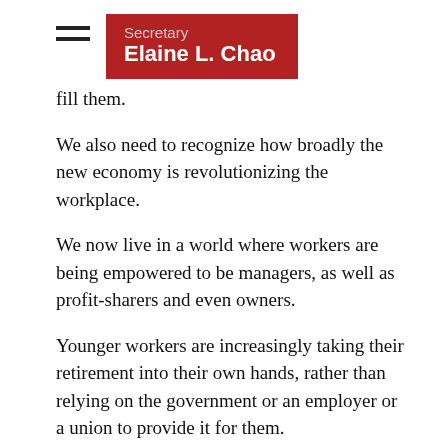Secretary Elaine L. Chao
fill them.
We also need to recognize how broadly the new economy is revolutionizing the workplace.
We now live in a world where workers are being empowered to be managers, as well as profit-sharers and even owners.
Younger workers are increasingly taking their retirement into their own hands, rather than relying on the government or an employer or a union to provide it for them.
In one sense, the new economy is “deconstructing” work, with jobs that can’t be pigeon-holed into a traditional workday or workweek, and corporate